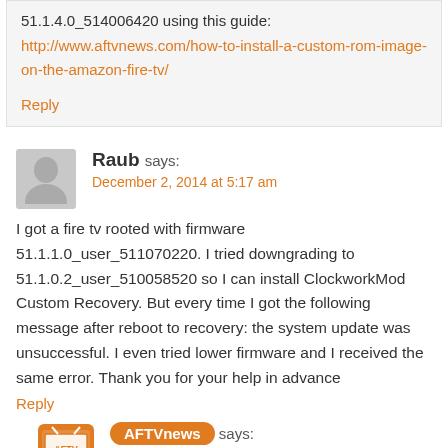51.1.4.0_514006420 using this guide:
http://www.aftvnews.com/how-to-install-a-custom-rom-image-on-the-amazon-fire-tv/
Reply
Raub says:
December 2, 2014 at 5:17 am
I got a fire tv rooted with firmware 51.1.1.0_user_511070220. I tried downgrading to 51.1.0.2_user_510058520 so I can install ClockworkMod Custom Recovery. But every time I got the following message after reboot to recovery: the system update was unsuccessful. I even tried lower firmware and I received the same error. Thank you for your help in advance
Reply
AFTVnews says:
December 2, 2014 at 5:37 am
Have you tried following the "If downgrading failed" portion at...